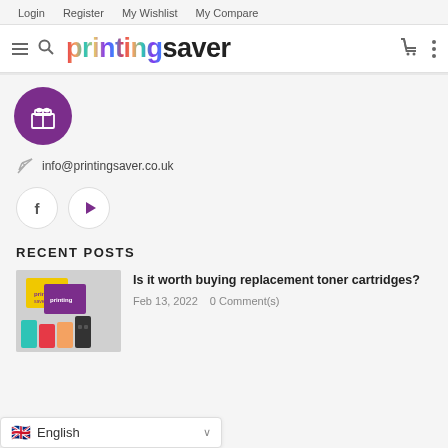Login  Register  My Wishlist  My Compare
[Figure (logo): printingsaver logo with multicolored 'printing' text and bold black 'saver' text]
[Figure (illustration): Purple circle with white gift box icon]
info@printingsaver.co.uk
[Figure (illustration): Facebook and YouTube social media buttons]
RECENT POSTS
[Figure (photo): Toner cartridges product image - yellow and purple boxes with ink cartridges]
Is it worth buying replacement toner cartridges?
Feb 13, 2022    0 Comment(s)
English